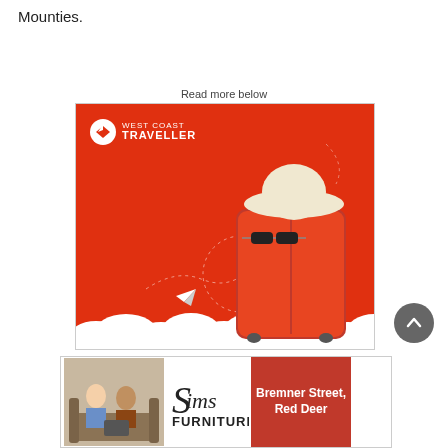Mounties.
Read more below
[Figure (illustration): West Coast Traveller advertisement: red background with a red suitcase, white hat, sunglasses on top of suitcase, white clouds at bottom, paper airplane with dotted trail, West Coast Traveller logo in top left.]
[Figure (illustration): Sims Furniture advertisement with logo on left, photo of two men on a sofa in center, and text 'Bremner Street, Red Deer' on red background on right.]